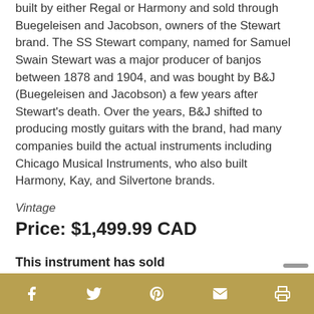built by either Regal or Harmony and sold through Buegeleisen and Jacobson, owners of the Stewart brand. The SS Stewart company, named for Samuel Swain Stewart was a major producer of banjos between 1878 and 1904, and was bought by B&J (Buegeleisen and Jacobson) a few years after Stewart's death. Over the years, B&J shifted to producing mostly guitars with the brand, had many companies build the actual instruments including Chicago Musical Instruments, who also built Harmony, Kay, and Silvertone brands.
Vintage
Price: $1,499.99 CAD
This instrument has sold
Social share icons: Facebook, Twitter, Pinterest, Email, Print